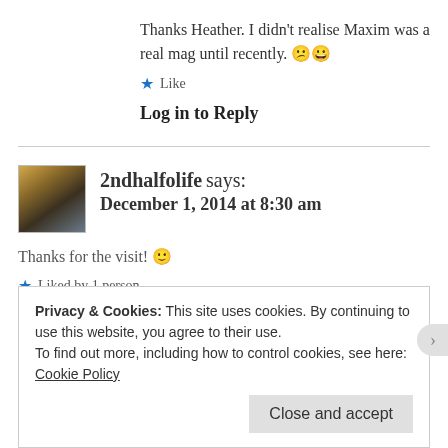Thanks Heather. I didn't realise Maxim was a real mag until recently. 😕😀
Like
Log in to Reply
2ndhalfolife says: December 1, 2014 at 8:30 am
Thanks for the visit! 🙂
Liked by 1 person
Privacy & Cookies: This site uses cookies. By continuing to use this website, you agree to their use. To find out more, including how to control cookies, see here: Cookie Policy
Close and accept